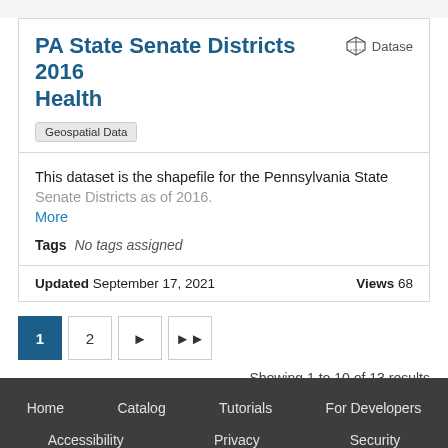PA State Senate Districts 2016 Health
Geospatial Data
This dataset is the shapefile for the Pennsylvania State Senate Districts as of 2016.
More
Tags  No tags assigned
Updated September 17, 2021    Views 68
1  2  ▶  ▶▶
Showing 1 to 10 of 13 results
Home  Catalog  Tutorials  For Developers  Accessibility  Privacy  Security